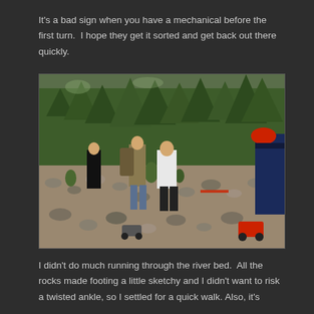It's a bad sign when you have a mechanical before the first turn.  I hope they get it sorted and get back out there quickly.
[Figure (photo): Outdoor scene on a rocky river bed with several people walking among stones and scrubby vegetation. Tall pine trees and mountains in the background. Two small RC cars visible in the foreground right area. One person wears a red cap and dark shirt on the far right, another in white shirt in the middle distance, others in background. Sunny day.]
I didn't do much running through the river bed.  All the rocks made footing a little sketchy and I didn't want to risk a twisted ankle, so I settled for a quick walk. Also, it's